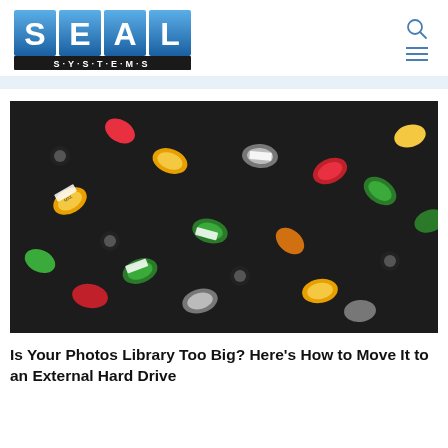[Figure (logo): SEAL Systems logo with blue gradient letter tiles spelling SEAL and S·Y·S·T·E·M·S below]
[Figure (photo): Overhead photo of a large pile of colorful 35mm film canisters in various colors including yellow (Kodak), green (Fuji), red, orange, silver, and black]
Is Your Photos Library Too Big? Here's How to Move It to an External Hard Drive